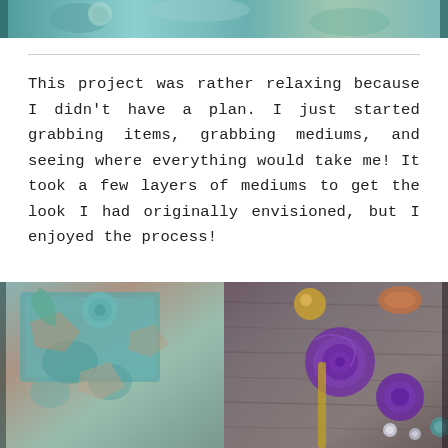[Figure (photo): Partial view of a decorative mixed-media art project with teal/turquoise and copper tones, cropped at top of page]
This project was rather relaxing because I didn't have a plan. I just started grabbing items, grabbing mediums, and seeing where everything would take me! It took a few layers of mediums to get the look I had originally envisioned, but I enjoyed the process!
[Figure (photo): Close-up photo of a mixed-media art project showing textured surfaces with teal/turquoise and copper patina effects, purple fabric roses, decorative elements, and pearlescent beads on a wooden background]